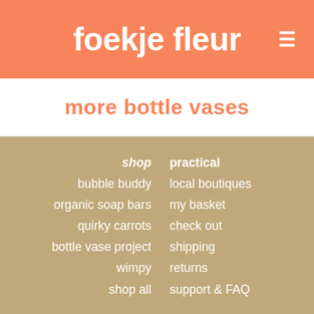foekje fleur
more bottle vases
shop
bubble buddy
organic soap bars
quirky carrots
bottle vase project
wimpy
shop all
practical
local boutiques
my basket
check out
shipping
returns
support & FAQ
about
about us
terms & conditions
privacy policy
internships
studio
baan 74
3011 cd rotterdam
warehouse